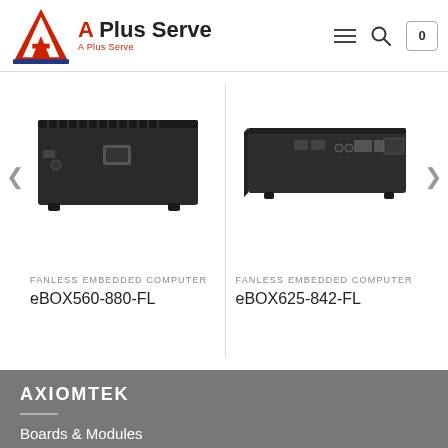A Plus Serve
[Figure (photo): Fanless embedded computer eBOX560-880-FL, dark metal chassis shown from rear/side angle]
FANLESS EMBEDDED COMPUTER
eBOX560-880-FL
[Figure (photo): Fanless embedded computer eBOX625-842-FL, dark metal chassis shown from front/side angle]
FANLESS EMBEDDED COMPUTER
eBOX625-842-FL
AXIOMTEK
Boards & Modules
Systems & Platforms
Industrial Panel PCs